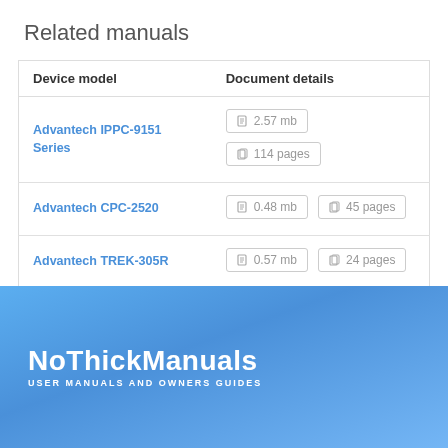Related manuals
| Device model | Document details |
| --- | --- |
| Advantech IPPC-9151 Series | 2.57 mb | 114 pages |
| Advantech CPC-2520 | 0.48 mb | 45 pages |
| Advantech TREK-305R | 0.57 mb | 24 pages |
NoThickManuals
USER MANUALS AND OWNERS GUIDES